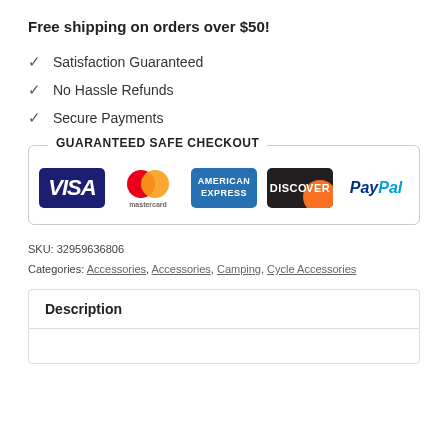Free shipping on orders over $50!
✓ Satisfaction Guaranteed
✓ No Hassle Refunds
✓ Secure Payments
[Figure (infographic): Guaranteed Safe Checkout badge with payment icons: Visa, Mastercard, American Express, Discover, PayPal]
SKU: 32959636806
Categories: Accessories, Accessories, Camping, Cycle Accessories
Description